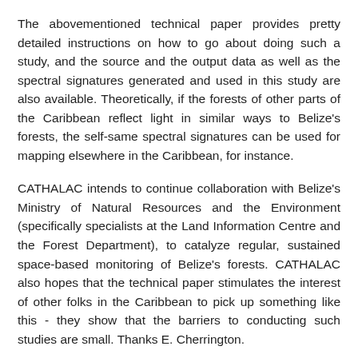The abovementioned technical paper provides pretty detailed instructions on how to go about doing such a study, and the source and the output data as well as the spectral signatures generated and used in this study are also available. Theoretically, if the forests of other parts of the Caribbean reflect light in similar ways to Belize's forests, the self-same spectral signatures can be used for mapping elsewhere in the Caribbean, for instance.
CATHALAC intends to continue collaboration with Belize's Ministry of Natural Resources and the Environment (specifically specialists at the Land Information Centre and the Forest Department), to catalyze regular, sustained space-based monitoring of Belize's forests. CATHALAC also hopes that the technical paper stimulates the interest of other folks in the Caribbean to pick up something like this - they show that the barriers to conducting such studies are small. Thanks E. Cherrington.
Update: (Thanks K. Lance) Based on this analysis of Landsat satellite imagery for 1980, 1989, 1994, 2000, 2004, and 2010, the validated, national-level assessment indicates